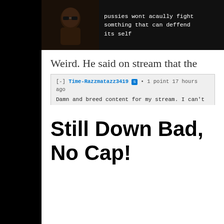[Figure (screenshot): Dark meme image showing a man with sunglasses and text: 'pussies wont acaully fight somthing that can deffend its self']
Weird. He said on stream that the plan from Day 1 was to troll us with salty bait, and yet on Reddit he said he wished that was the plan…
[Figure (screenshot): Reddit comment from Time-Razzmatazz3419, 1 point, 17 hours ago: 'Damn and breed content for my stream. I can't believe I didn't think of this from day 1...']
Still Down Bad, No Cap!